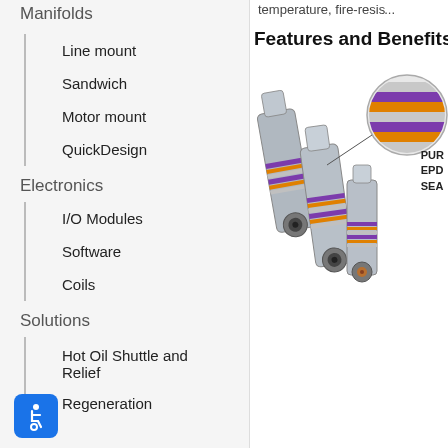Manifolds
Line mount
Sandwich
Motor mount
QuickDesign
Electronics
I/O Modules
Software
Coils
Solutions
Hot Oil Shuttle and Relief
Regeneration
temperature, fire-resis...
Features and Benefits
[Figure (photo): Three hydraulic cartridge valve components with purple, orange, and silver colored O-ring seals, with a magnified callout circle showing the seal layers labeled PUR, EPD, SEA]
PUR
EPD
SEA